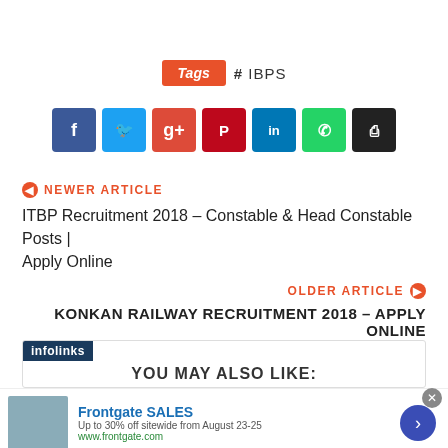Tags  # IBPS
[Figure (infographic): Social media share buttons: Facebook, Twitter, Google+, Pinterest, LinkedIn, WhatsApp, Print]
NEWER ARTICLE
ITBP Recruitment 2018 – Constable & Head Constable Posts | Apply Online
OLDER ARTICLE
KONKAN RAILWAY RECRUITMENT 2018 – APPLY ONLINE
YOU MAY ALSO LIKE:
[Figure (infographic): Frontgate SALES advertisement banner: Up to 30% off sitewide from August 23-25. www.frontgate.com]